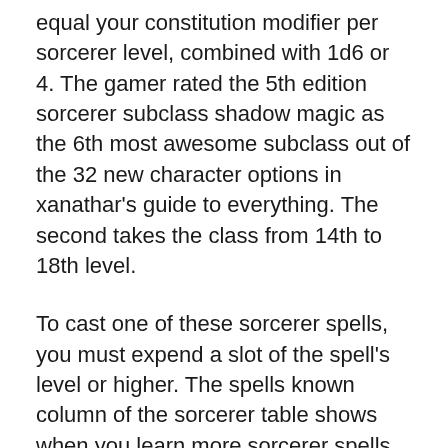equal your constitution modifier per sorcerer level, combined with 1d6 or 4. The gamer rated the 5th edition sorcerer subclass shadow magic as the 6th most awesome subclass out of the 32 new character options in xanathar's guide to everything. The second takes the class from 14th to 18th level.
To cast one of these sorcerer spells, you must expend a slot of the spell's level or higher. The spells known column of the sorcerer table shows when you learn more sorcerer spells of your choice. The sorcerer table shows how many spell slots you have to cast your sorcerer spells of 1st level and higher.